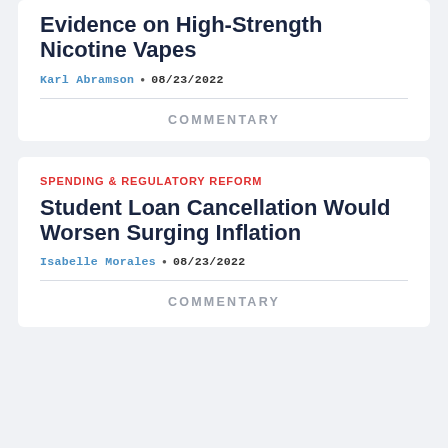Evidence on High-Strength Nicotine Vapes
Karl Abramson • 08/23/2022
COMMENTARY
SPENDING & REGULATORY REFORM
Student Loan Cancellation Would Worsen Surging Inflation
Isabelle Morales • 08/23/2022
COMMENTARY